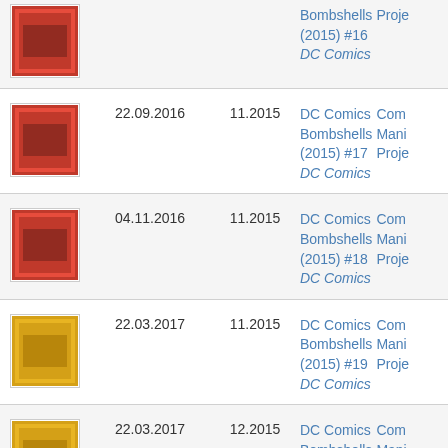| Cover | Date | Series | Title | More |
| --- | --- | --- | --- | --- |
| [image] |  |  | Bombshells (2015) #16
DC Comics | Mani Proje |
| [image] | 22.09.2016 | 11.2015 | DC Comics Bombshells (2015) #17
DC Comics | Com Mani Proje |
| [image] | 04.11.2016 | 11.2015 | DC Comics Bombshells (2015) #18
DC Comics | Com Mani Proje |
| [image] | 22.03.2017 | 11.2015 | DC Comics Bombshells (2015) #19
DC Comics | Com Mani Proje |
| [image] | 22.03.2017 | 12.2015 | DC Comics Bombshells (2015) #20
DC Comics | Com Mani Proje |